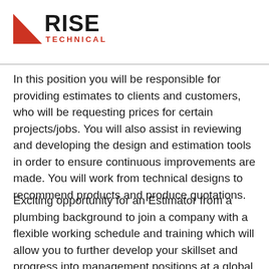[Figure (logo): RISE Technical logo with red triangle and bold text]
In this position you will be responsible for providing estimates to clients and customers, who will be requesting prices for certain projects/jobs. You will also assist in reviewing and developing the design and estimation tools in order to ensure continuous improvements are made. You will work from technical designs to recommend products and produce quotations.
Exciting opportunity for an Estimator from a plumbing background to join a company with a flexible working schedule and training which will allow you to further develop your skillset and progress into management positions at a global